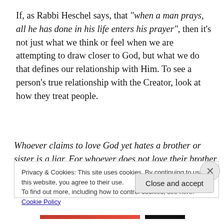If, as Rabbi Heschel says, that "when a man prays, all he has done in his life enters his prayer", then it's not just what we think or feel when we are attempting to draw closer to God, but what we do that defines our relationship with Him. To see a person's true relationship with the Creator, look at how they treat people.
Whoever claims to love God yet hates a brother or sister is a liar. For whoever does not love their brother and sister, whom they have seen, cannot love God, whom they have
Privacy & Cookies: This site uses cookies. By continuing to use this website, you agree to their use.
To find out more, including how to control cookies, see here: Cookie Policy
Close and accept